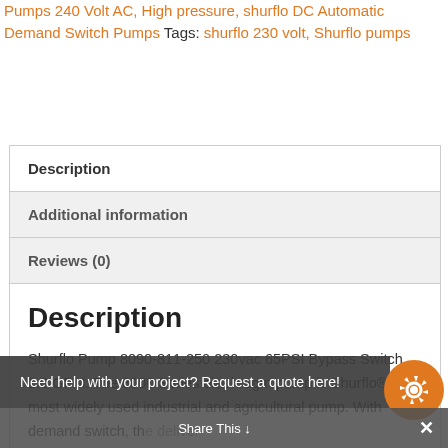Pumps 240 Volt AC, High pressure, shurflo DC Automatic Demand Switch Pumps Tags: shurflo 230 volt, Shurflo pumps
| Tab |
| --- |
| Description |
| Additional information |
| Reviews (0) |
| Description
Shurflo Pump 8090-811-250 230vac 65PSI Bypass Switch 1.0 GPM. The 8000 Series diaphragm pump is Shurflo®'s most widely used industrial and agricultural pump. With demand switch, the deliver |
Need help with your project? Request a quote here!
Share This